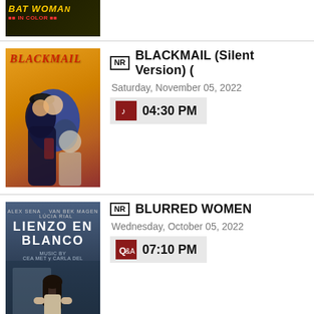[Figure (illustration): Bat Woman movie poster - partial, showing yellow text on dark background with 'IN COLOR' subtitle]
[Figure (illustration): Blackmail (1929) movie poster - red italic title text over golden/orange background with illustrated figures]
NR BLACKMAIL (Silent Version)
Saturday, November 05, 2022
04:30 PM
[Figure (illustration): Lienzo en Blanco / Blurred Women movie poster - woman from behind in dark blue environment]
NR BLURRED WOMEN
Wednesday, October 05, 2022
07:10 PM
[Figure (illustration): Body and Soul (1947) movie poster - partial, showing cursive red text]
NR BODY AND SOUL (1947)